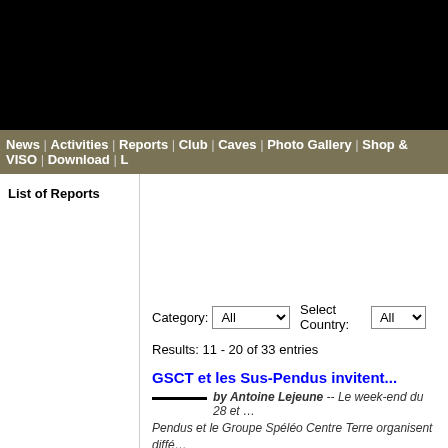News | Activities | Reports | Club | Caves | Photo Gallery | Shop & VISO | Download | L
List of Reports
Category: All   Select Country: All
Results: 11 - 20 of 33 entries
GSCT et les Sus-Pendus invitent...
by Antoine Lejeune -- Le week-end du 28 et ... Pendus et le Groupe Spéléo Centre Terre organisent diffé... ouvert ! De quoi s'entraîner dans une excellente ambiance...
Camp an den Causses
by Antoine Lejeune -- Vum 10 bis de 17... an de Causses. Mir haten e ganz flotte Gite gelount zu Lia... eng gudd Equipe fir de highlight vum Camp: den Aven du ...
Interclub activity GSL-SGL